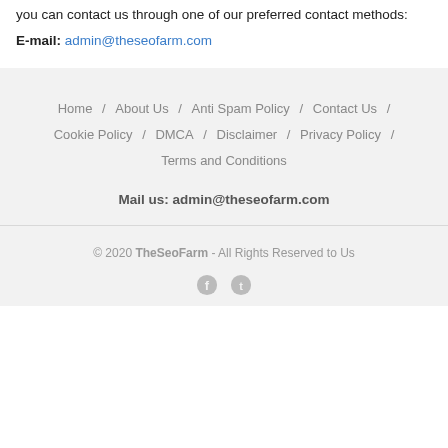you can contact us through one of our preferred contact methods:
E-mail: admin@theseofarm.com
Home / About Us / Anti Spam Policy / Contact Us / Cookie Policy / DMCA / Disclaimer / Privacy Policy / Terms and Conditions
Mail us: admin@theseofarm.com
© 2020 TheSeoFarm - All Rights Reserved to Us